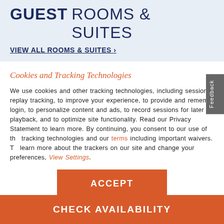GUEST ROOMS & SUITES
VIEW ALL ROOMS & SUITES >
Cookies and Tracking Technologies
We use cookies and other tracking technologies, including session replay tracking, to improve your experience, to provide and remember login, to personalize content and ads, to record sessions for later playback, and to optimize site functionality. Read our Privacy Statement to learn more. By continuing, you consent to our use of the tracking technologies and our terms including important waivers. To learn more about the trackers on our site and change your preferences, View Settings.
ACCEPT
CHECK AVAILABILITY